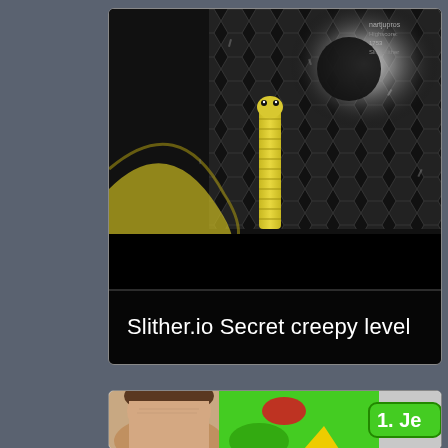[Figure (screenshot): Screenshot of Slither.io game showing a yellow snake on a dark hexagonal grid background with a glowing white circular element. Dark black bar at bottom of image.]
Slither.io Secret creepy level
[Figure (screenshot): Partial screenshot showing a man's face on the left and a green cartoon character with red markings on the right, with '1. Je' text visible in a rounded rectangle badge.]